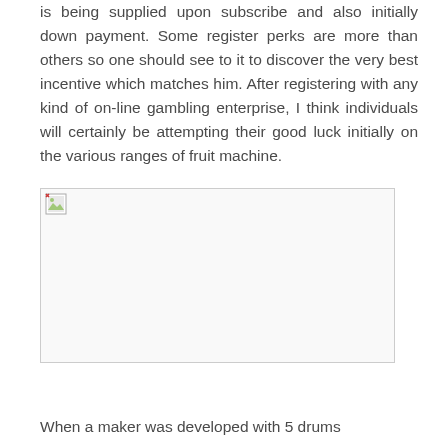is being supplied upon subscribe and also initially down payment. Some register perks are more than others so one should see to it to discover the very best incentive which matches him. After registering with any kind of on-line gambling enterprise, I think individuals will certainly be attempting their good luck initially on the various ranges of fruit machine.
[Figure (photo): Broken/missing image placeholder with small image icon in top-left corner]
When a maker was developed with 5 drums